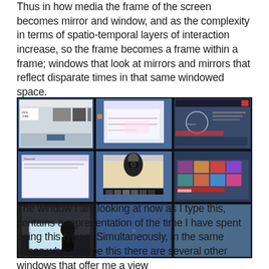Thus in new media the frame of the screen becomes mirror and window, and as the complexity in terms of spatio-temporal layers of interaction increase, so the frame becomes a frame within a frame; windows that look at mirrors and mirrors that reflect disparate times in that same windowed space.
[Figure (photo): A 3x3 grid of computer screens/monitors displayed on a dark background, showing various desktop windows including web browsers, a webcam feed of a person with a camera, and desktop interfaces. The screens show blue desktop backgrounds with various open applications.]
The window I am looking at now as I type this, contains a representation of the time I have spent doing this typing. Simultaneously, in the same space where I type this there are several other windows that offer me a view